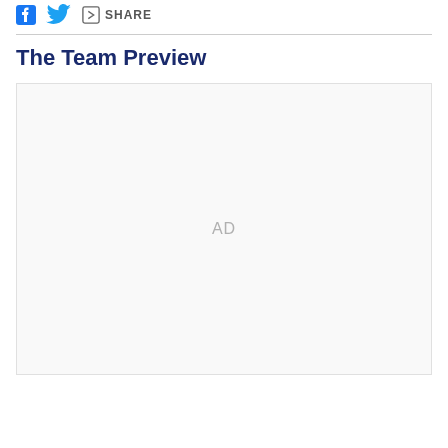[Figure (other): Social sharing icons: Facebook (blue F), Twitter (blue bird), and a share box icon with the text SHARE]
The Team Preview
[Figure (other): Advertisement placeholder box with 'AD' label in light gray text centered in a light gray bordered rectangle]